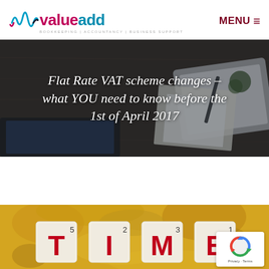[Figure (logo): ValueAdd logo with teal/pink waveform SVG icon and tagline 'BOOKKEEPING | ACCOUNTANCY | BUSINESS SUPPORT']
MENU ☰
[Figure (photo): Hero banner with desk/laptop background image. Overlaid italic handwritten-style text reads: 'Flat Rate VAT scheme changes – what YOU need to know before the 1st of April 2017']
[Figure (photo): Bottom partial image showing Scrabble tiles spelling 'TIME' on a yellow/orange marble surface. Letters T, I, M, E with superscript numbers 5, 2, 3, 1. A reCAPTCHA badge (Privacy - Terms) overlays the bottom-right corner.]